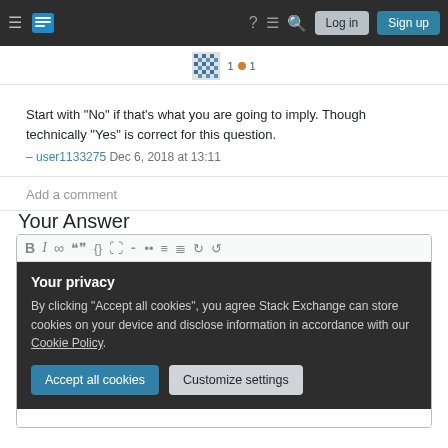Stack Exchange navigation bar with Log in and Sign up buttons
1 ● 1
Start with "No" if that's what you are going to imply. Though technically "Yes" is correct for this question. – user1133275 Dec 6, 2018 at 13:11
Add a comment
Your Answer
[Figure (screenshot): Text editor toolbar with formatting icons: Bold, Italic, Link, Blockquote, Code, Image, Ordered list, Unordered list, Align, Justify, Undo, Redo]
Your privacy
By clicking "Accept all cookies", you agree Stack Exchange can store cookies on your device and disclose information in accordance with our Cookie Policy.